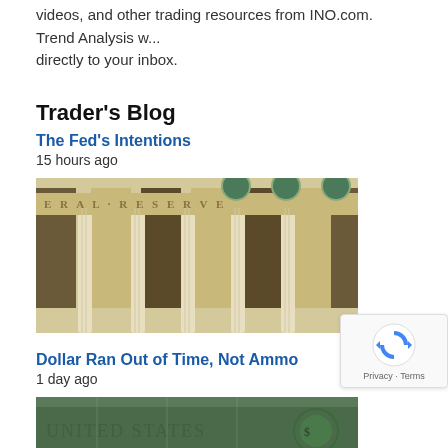videos, and other trading resources from INO.com. Trend Analysis w... directly to your inbox.
Trader's Blog
The Fed's Intentions
15 hours ago
[Figure (photo): Photograph of the Federal Reserve building exterior showing large stone columns and decorative green medallions with partial text 'ERAL RESERVE' visible]
Dollar Ran Out of Time, Not Ammo
1 day ago
[Figure (photo): Close-up photograph of US dollar bills showing green text and imagery]
[Figure (other): reCAPTCHA widget showing a reload icon and Privacy - Terms text]